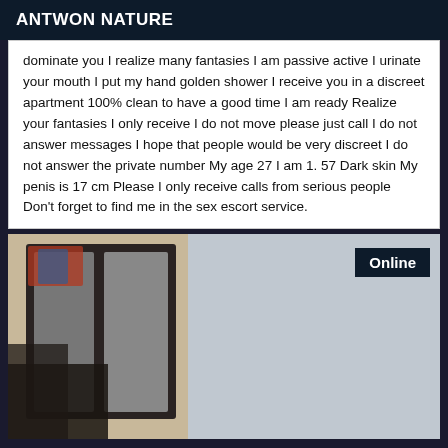ANTWON NATURE
dominate you I realize many fantasies I am passive active I urinate your mouth I put my hand golden shower I receive you in a discreet apartment 100% clean to have a good time I am ready Realize your fantasies I only receive I do not move please just call I do not answer messages I hope that people would be very discreet I do not answer the private number My age 27 I am 1. 57 Dark skin My penis is 17 cm Please I only receive calls from serious people Don't forget to find me in the sex escort service.
[Figure (photo): Photo showing a mirror frame with dark border and a person partially visible, with an 'Online' badge overlay in the top right corner.]